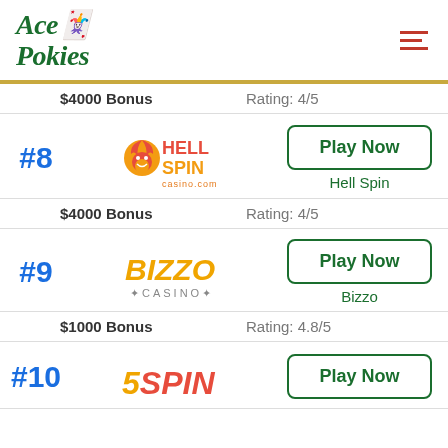[Figure (logo): Ace Pokies logo in dark green italic serif font with playing card chip icon]
$4000 Bonus   Rating: 4/5
#8 Hell Spin Casino - Play Now - $4000 Bonus - Rating: 4/5
#9 Bizzo Casino - Play Now - $1000 Bonus - Rating: 4.8/5
#10 Spinago (partial) - Play Now